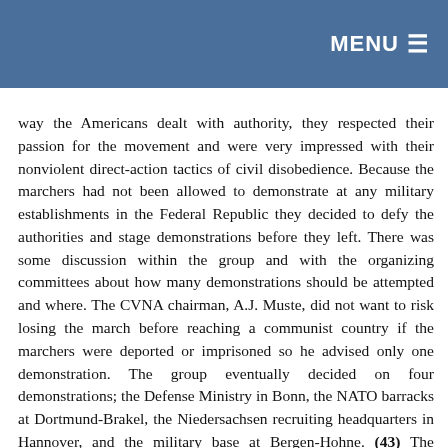MENU ≡
way the Americans dealt with authority, they respected their passion for the movement and were very impressed with their nonviolent direct-action tactics of civil disobedience. Because the marchers had not been allowed to demonstrate at any military establishments in the Federal Republic they decided to defy the authorities and stage demonstrations before they left. There was some discussion within the group and with the organizing committees about how many demonstrations should be attempted and where. The CVNA chairman, A.J. Muste, did not want to risk losing the march before reaching a communist country if the marchers were deported or imprisoned so he advised only one demonstration. The group eventually decided on four demonstrations; the Defense Ministry in Bonn, the NATO barracks at Dortmund-Brakel, the Niedersachsen recruiting headquarters in Hannover, and the military base at Bergen-Hohne. (43) The marchers sent a press release to news outlets and wrote to the police in each location notifying them of the demonstrations that would take place that Thursday, detailing exactly what they were planning to do. (44) They